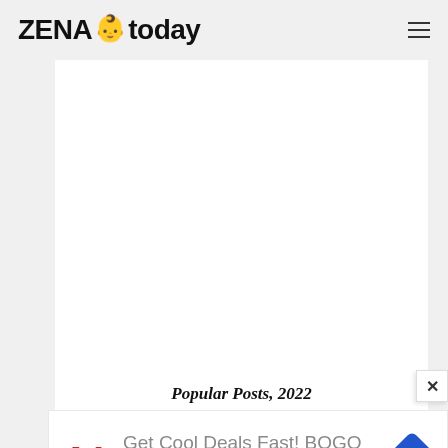ZENA today
[Figure (other): White content area box representing a blank/loading content region]
Popular Posts, 2022
[Figure (other): Advertisement banner: Walgreens - Get Cool Deals Fast! BOGO 50% Off Select Sun Care, with Walgreens W logo and navigation/directions icon]